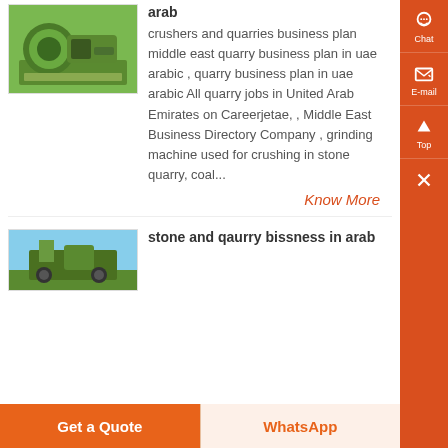[Figure (photo): Green industrial crusher/grinding machine equipment on ground]
arab
crushers and quarries business plan middle east quarry business plan in uae arabic , quarry business plan in uae arabic All quarry jobs in United Arab Emirates on Careerjetae, , Middle East Business Directory Company , grinding machine used for crushing in stone quarry, coal...
Know More
[Figure (photo): Industrial machinery/quarry equipment against blue sky background]
stone and qaurry bissness in arab
Get a Quote
WhatsApp